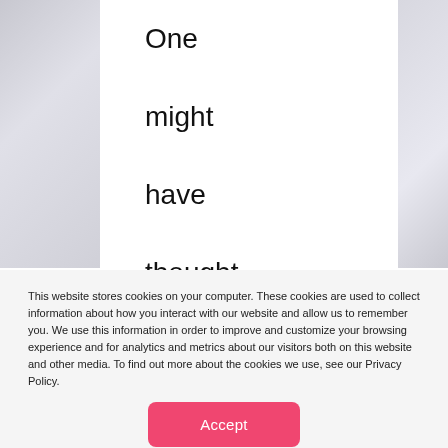One might have thought that I, of all people, would
This website stores cookies on your computer. These cookies are used to collect information about how you interact with our website and allow us to remember you. We use this information in order to improve and customize your browsing experience and for analytics and metrics about our visitors both on this website and other media. To find out more about the cookies we use, see our Privacy Policy.